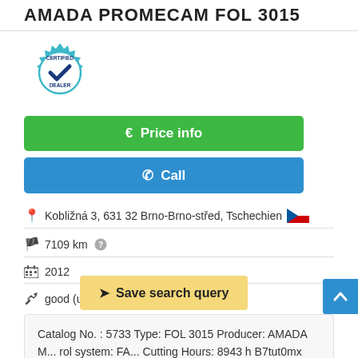AMADA PROMECAM FOL 3015
[Figure (logo): Certified Dealer badge — circular teal gear icon with checkmark and text 'CERTIFIED DEALER']
€ Price info
✆ Call
Kobližná 3, 631 32 Brno-Brno-střed, Tschechien
7109 km
2012
good (used)
Catalog No. : 5733 Type: FOL 3015 Producer: AMADA M... rol system: FA... Cutting Hours: 8943 h B7tut0mx Laser power: 4 kW Length of the...
Save search query